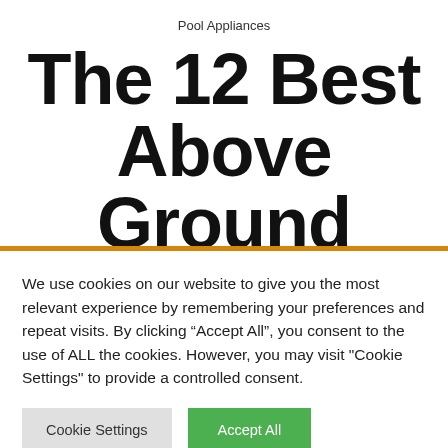Pool Appliances
The 12 Best Above Ground Pools in 2022
We use cookies on our website to give you the most relevant experience by remembering your preferences and repeat visits. By clicking “Accept All”, you consent to the use of ALL the cookies. However, you may visit "Cookie Settings" to provide a controlled consent.
Cookie Settings
Accept All